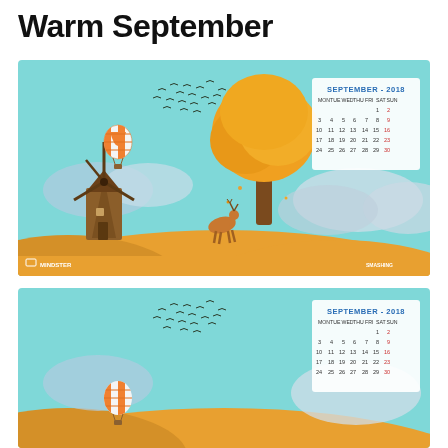Warm September
[Figure (illustration): September 2018 calendar desktop wallpaper showing an autumn scene with orange tree, windmill, deer, hot air balloon, birds in flight, and a mini September 2018 calendar in the top right corner. Logos: Mindster and Smashing Magazine at the bottom.]
[Figure (illustration): Second version (without date version) of the same September 2018 autumn scene wallpaper with calendar in top right, partially cropped.]